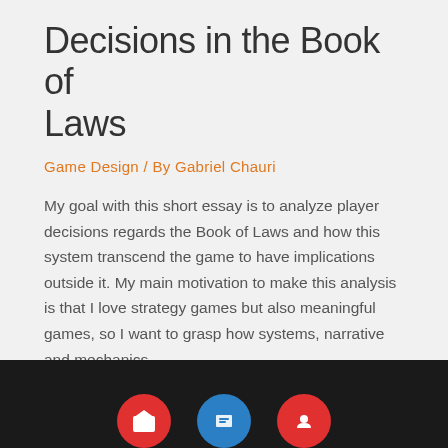Decisions in the Book of Laws
Game Design / By Gabriel Chauri
My goal with this short essay is to analyze player decisions regards the Book of Laws and how this system transcend the game to have implications outside it. My main motivation to make this analysis is that I love strategy games but also meaningful games, so I want to grasp how systems, narrative and mechanics ...
Read More »
[Figure (infographic): Footer area with dark background showing partial social media icon circles (red, blue, red) at the bottom of the page]